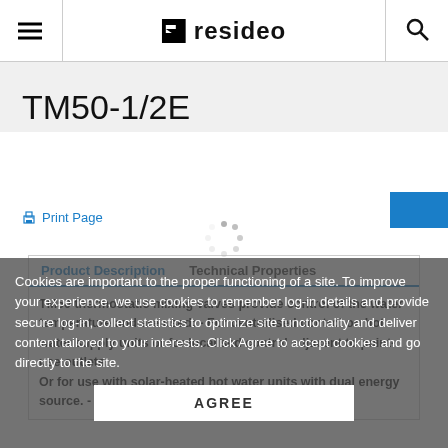resideo
TM50-1/2E
Print Page
Product Description
Technical Properties
TM50 thermostatic mixing valves provide control of the water temperature and are used: - For centralised control on hot water supply units or for localised control adjacent to point-use outlets. Or for use with solar-heated hot water units with dual energy source. - In heating systems with
Cookies are important to the proper functioning of a site. To improve your experience, we use cookies to remember log-in details and provide secure log-in, collect statistics to optimize site functionality and deliver content tailored to your interests. Click Agree to accept cookies and go directly to the site.
AGREE